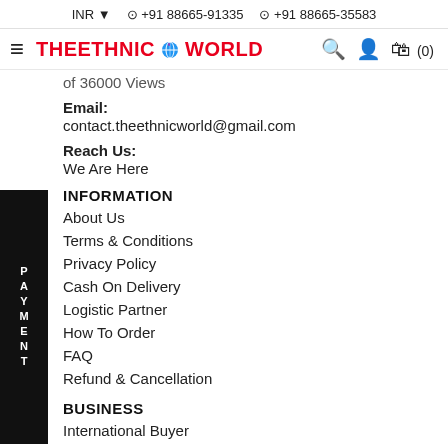INR  +91 88665-91335  +91 88665-35583
[Figure (logo): TheEthnicWorld logo with hamburger menu, search, user, and cart icons]
of 36000 Views
Email:
contact.theethnicworld@gmail.com
Reach Us:
We Are Here
INFORMATION
About Us
Terms & Conditions
Privacy Policy
Cash On Delivery
Logistic Partner
How To Order
FAQ
Refund & Cancellation
BUSINESS
International Buyer